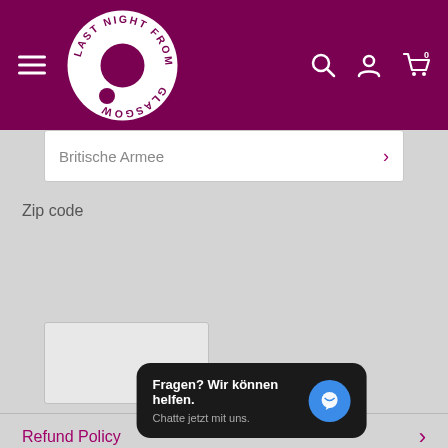[Figure (logo): Last Night From Glasgow circular logo — white circle with maroon text and dot, on maroon background header]
Britische Armee
Zip code
Estimate
Refund Policy
Fragen? Wir können helfen. Chatte jetzt mit uns.